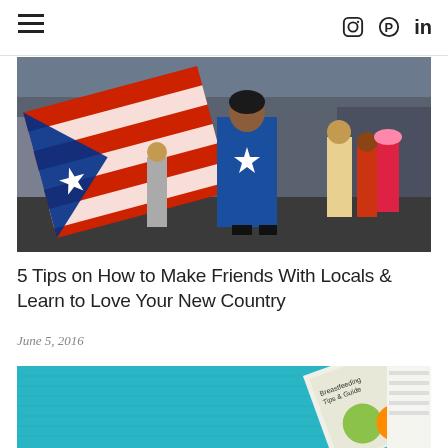≡  [instagram] [pinterest] in
[Figure (photo): Woman in blue outfit with white star holding a large Puerto Rico flag, street scene with people in background]
5 Tips on How to Make Friends With Locals & Learn to Love Your New Country
June 5, 2016
[Figure (photo): Breastfeeding Tips & Guide booklet on teal fabric background with medical supplies]